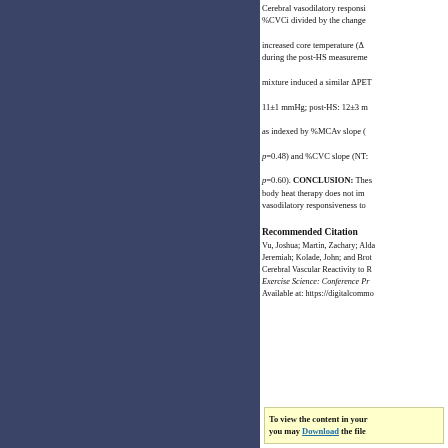Cerebral vasodilatory responsiveness was defined as the change in %CVCi divided by the change in increased core temperature (Δ during the post-HS measurement mixture induced a similar ΔPET 11±1 mmHg; post-HS: 12±3 m as indexed by %MCAv slope ( p=0.48) and %CVC slope (NT: p=0.60). CONCLUSION: These body heat therapy does not im vasodilatory responsiveness to
Recommended Citation
Vu, Joshua; Martin, Zachary; Alda Jeremiah; Kolade, John; and Brot Cerebral Vascular Reactivity to R Exercise Science: Conference Pr Available at: https://digitalcommo
To view the content in your you may Download the file